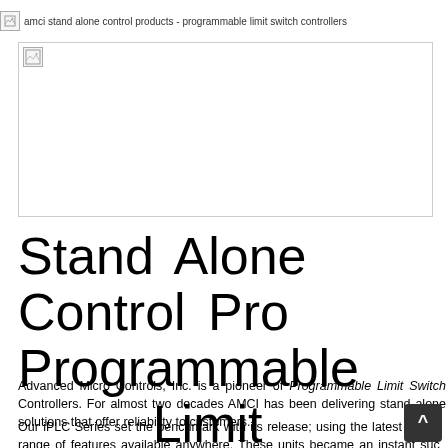[Figure (other): Broken image placeholder with alt text: amci stand alone control products - programmable limit switch controllers]
[Figure (photo): Large image placeholder (broken/unloaded) showing AMCI stand alone control products]
Stand Alone Control Products - Programmable Limit Switch Controllers
Advanced Micro Controls, Inc. is a pioneer of Programmable Limit Switch Controllers. For almost two decades AMCI has been delivering stand alone solutions that offer outstanding reliability to customers.
Our iPLC Series set the benchmark with its release; using the latest technology and a range of features available anywhere. These units became an instant success and set the standard. Years later, AMCI continues their ongoing commitment to outstanding products.